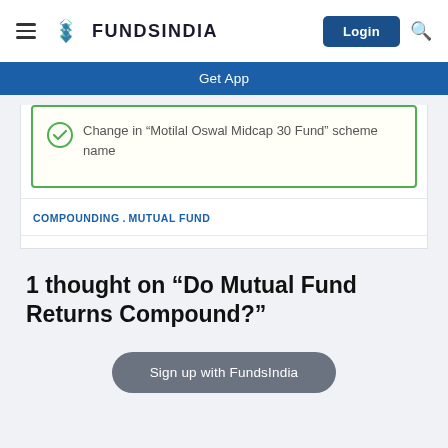FUNDSINDIA
Get App
Change in “Motilal Oswal Midcap 30 Fund” scheme name
COMPOUNDING. MUTUAL FUND
1 thought on “Do Mutual Fund Returns Compound?”
Sign up with FundsIndia